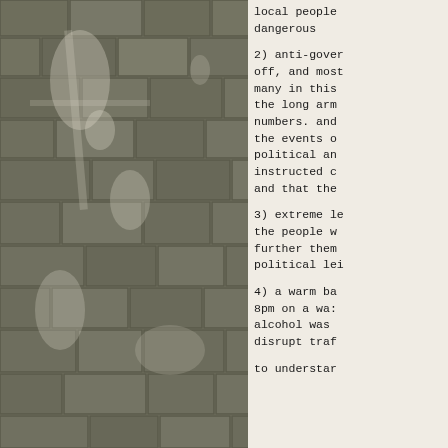[Figure (photo): Photograph of a stone or concrete block wall with weathered, mottled surface showing white staining and discoloration across the brick/block face. The image occupies the left portion of the page.]
local people dangerous

2) anti-gover off, and most many in this the long arm numbers. and the events o political an instructed c and that the

3) extreme le the people w further them political lei

4) a warm ba 8pm on a wa: alcohol was disrupt traf

to understar